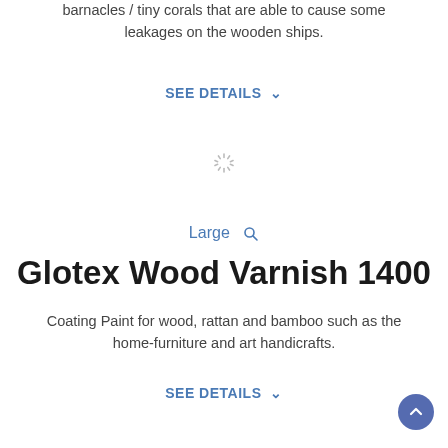barnacles / tiny corals that are able to cause some leakages on the wooden ships.
SEE DETAILS ∨
[Figure (illustration): Loading spinner / asterisk icon]
Large 🔍
Glotex Wood Varnish 1400
Coating Paint for wood, rattan and bamboo such as the home-furniture and art handicrafts.
SEE DETAILS ∨